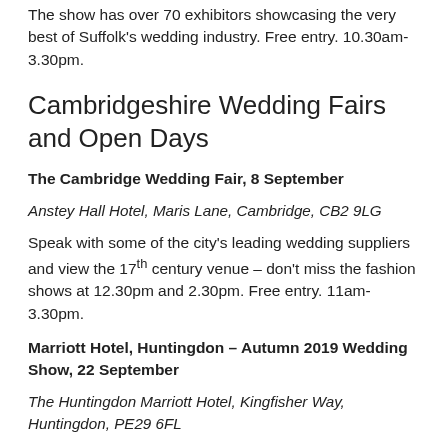The show has over 70 exhibitors showcasing the very best of Suffolk's wedding industry. Free entry. 10.30am-3.30pm.
Cambridgeshire Wedding Fairs and Open Days
The Cambridge Wedding Fair, 8 September
Anstey Hall Hotel, Maris Lane, Cambridge, CB2 9LG
Speak with some of the city's leading wedding suppliers and view the 17th century venue – don't miss the fashion shows at 12.30pm and 2.30pm. Free entry. 11am-3.30pm.
Marriott Hotel, Huntingdon – Autumn 2019 Wedding Show, 22 September
The Huntingdon Marriott Hotel, Kingfisher Way, Huntingdon, PE29 6FL